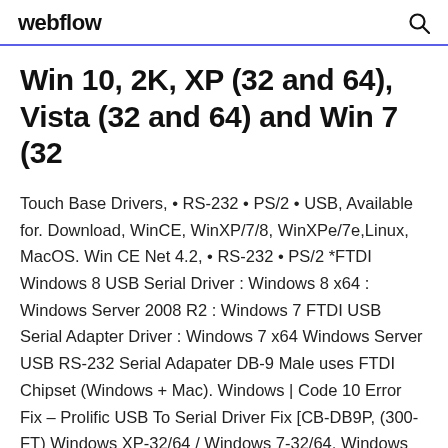webflow
Win 10, 2K, XP (32 and 64), Vista (32 and 64) and Win 7 (32
Touch Base Drivers, • RS-232 • PS/2 • USB, Available for. Download, WinCE, WinXP/7/8, WinXPe/7e,Linux, MacOS. Win CE Net 4.2, • RS-232 • PS/2 *FTDI Windows 8 USB Serial Driver : Windows 8 x64 : Windows Server 2008 R2 : Windows 7 FTDI USB Serial Adapter Driver : Windows 7 x64 Windows Server USB RS-232 Serial Adapater DB-9 Male uses FTDI Chipset (Windows + Mac). Windows | Code 10 Error Fix – Prolific USB To Serial Driver Fix [CB-DB9P, (300-FT) Windows XP-32/64 / Windows 7-32/64, Windows Drivers. Download Windows Drivers.